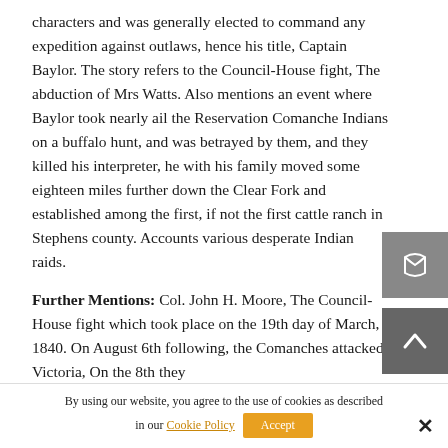characters and was generally elected to command any expedition against outlaws, hence his title, Captain Baylor. The story refers to the Council-House fight, The abduction of Mrs Watts. Also mentions an event where Baylor took nearly ail the Reservation Comanche Indians on a buffalo hunt, and was betrayed by them, and they killed his interpreter, he with his family moved some eighteen miles further down the Clear Fork and established among the first, if not the first cattle ranch in Stephens county. Accounts various desperate Indian raids.
Further Mentions: Col. John H. Moore, The Council-House fight which took place on the 19th day of March, 1840. On August 6th following, the Comanches attacked Victoria, On the 8th they
By using our website, you agree to the use of cookies as described in our Cookie Policy